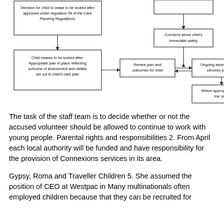[Figure (flowchart): Flowchart showing child care planning process. Boxes include: 'Decision for child to cease to be looked after approved under regulation 39 of the Care Planning Regulations', 'Child ceases to be looked after. Appropriate plan in place reflecting outcome of assessment and details set out in child's care plan', 'Concerns about child's immediate safety', 'Review plan and outcomes for child', 'Ongoing assessment and services provided', 'Where appropriate close the case'. Arrows connect boxes in sequence.]
The task of the staff team is to decide whether or not the accused volunteer should be allowed to continue to work with young people. Parental rights and responsibilities 2. From April each local authority will be funded and have responsibility for the provision of Connexions services in its area.
Gypsy, Roma and Traveller Children 5. She assumed the position of CEO at Westpac in Many multinationals often employed children because that they can be recruited for